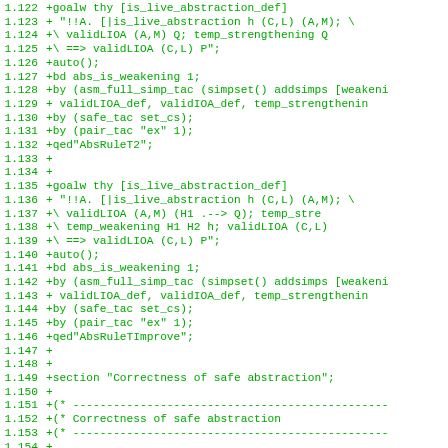[Figure (screenshot): Source code diff/patch showing Isabelle/HOL proof script lines 1.122 to 1.153, displaying green monospaced text on white background with line numbers.]